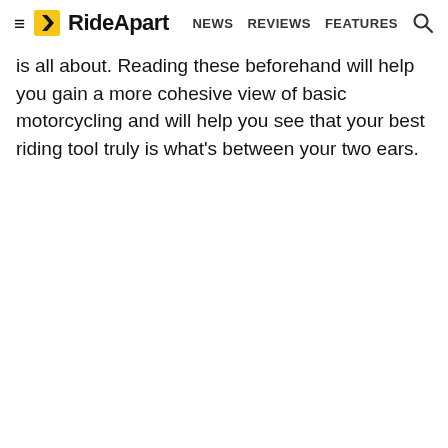≡ RideApart  NEWS  REVIEWS  FEATURES  🔍
is all about. Reading these beforehand will help you gain a more cohesive view of basic motorcycling and will help you see that your best riding tool truly is what's between your two ears.